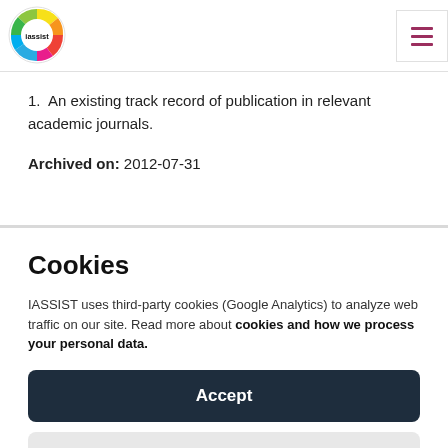iassist (logo) navigation menu
An existing track record of publication in relevant academic journals.
Archived on: 2012-07-31
Cookies
IASSIST uses third-party cookies (Google Analytics) to analyze web traffic on our site. Read more about cookies and how we process your personal data.